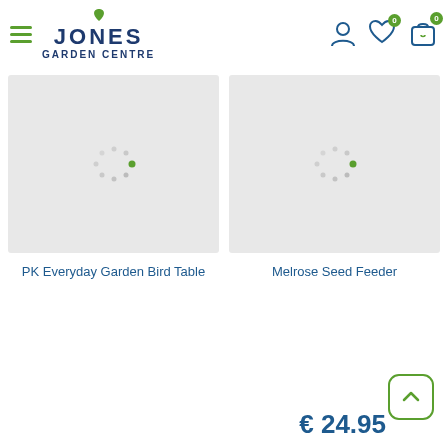[Figure (logo): Jones Garden Centre logo with green leaf and navy text]
[Figure (photo): Product image placeholder with loading spinner for PK Everyday Garden Bird Table]
PK Everyday Garden Bird Table
[Figure (photo): Product image placeholder with loading spinner for Melrose Seed Feeder]
Melrose Seed Feeder
€ 24.95